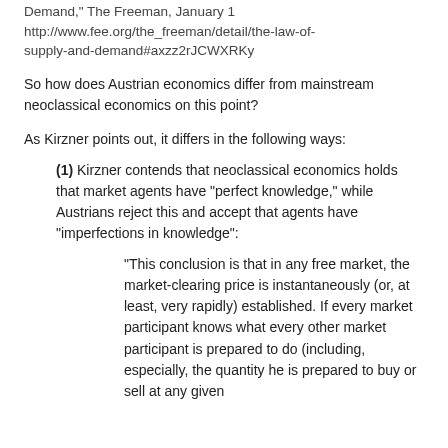Demand," The Freeman, January 1 http://www.fee.org/the_freeman/detail/the-law-of-supply-and-demand#axzz2rJCWXRKy
So how does Austrian economics differ from mainstream neoclassical economics on this point?
As Kirzner points out, it differs in the following ways:
(1) Kirzner contends that neoclassical economics holds that market agents have “perfect knowledge,” while Austrians reject this and accept that agents have “imperfections in knowledge”:
“This conclusion is that in any free market, the market-clearing price is instantaneously (or, at least, very rapidly) established. If every market participant knows what every other market participant is prepared to do (including, especially, the quantity he is prepared to buy or sell at any given